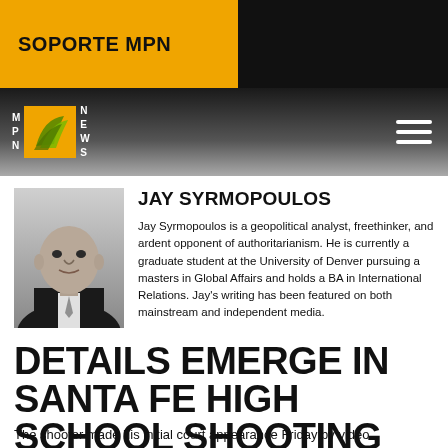SOPORTE MPN
[Figure (logo): MPN News logo with orange/yellow leaf graphic and white letter columns]
JAY SYRMOPOULOS
Jay Syrmopoulos is a geopolitical analyst, freethinker, and ardent opponent of authoritarianism. He is currently a graduate student at the University of Denver pursuing a masters in Global Affairs and holds a BA in International Relations. Jay's writing has been featured on both mainstream and independent media.
DETAILS EMERGE IN SANTA FE HIGH SCHOOL SHOOTING AS SUSPECT APPEARS IN COURT
The shooter made his initial court appearance Friday by video